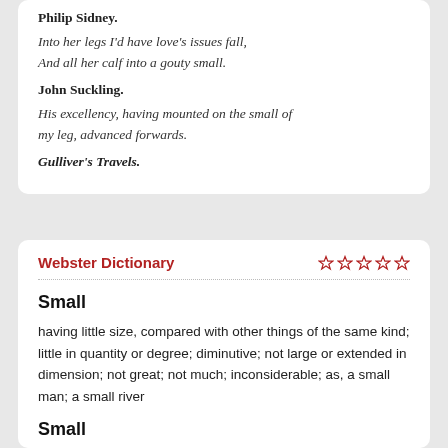Philip Sidney.
Into her legs I'd have love's issues fall,
And all her calf into a gouty small.
John Suckling.
His excellency, having mounted on the small of my leg, advanced forwards.
Gulliver's Travels.
Webster Dictionary
Small
having little size, compared with other things of the same kind; little in quantity or degree; diminutive; not large or extended in dimension; not great; not much; inconsiderable; as, a small man; a small river
Small